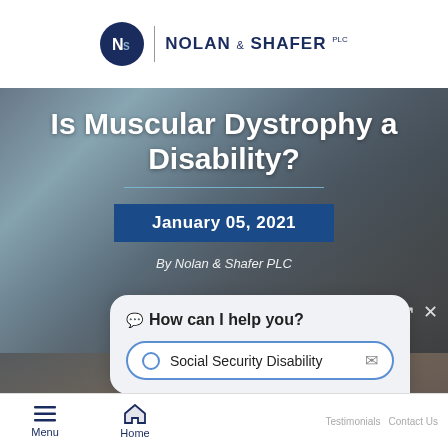[Figure (logo): Nolan & Shafer PLC law firm logo with circular emblem and firm name]
[Figure (photo): Background photo of medical/disability scene, person in wheelchair being assisted]
Is Muscular Dystrophy a Disability?
January 05, 2021
By Nolan & Shafer PLC
💬 How can I help you?
Social Security Disability
Menu  Home  Testimonials  Contact Us